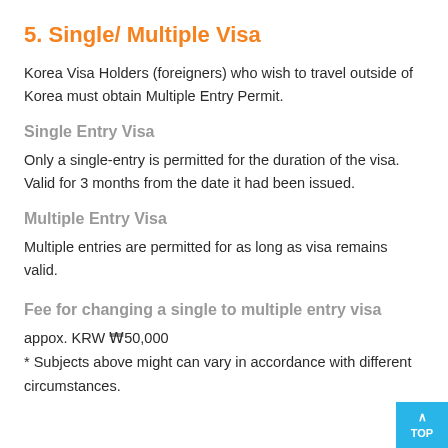5. Single/ Multiple Visa
Korea Visa Holders (foreigners) who wish to travel outside of Korea must obtain Multiple Entry Permit.
Single Entry Visa
Only a single-entry is permitted for the duration of the visa. Valid for 3 months from the date it had been issued.
Multiple Entry Visa
Multiple entries are permitted for as long as visa remains valid.
Fee for changing a single to multiple entry visa
appox. KRW ₩50,000
* Subjects above might can vary in accordance with different circumstances.